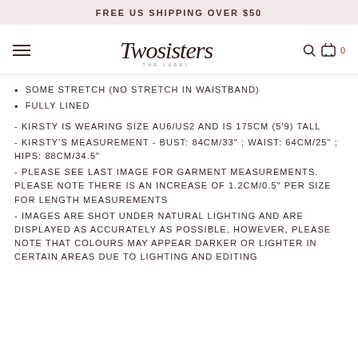FREE US SHIPPING OVER $50
[Figure (logo): Two Sisters The Label cursive script logo with hamburger menu icon, search icon, and cart icon with 0 badge]
SOME STRETCH (NO STRETCH IN WAISTBAND)
FULLY LINED
- KIRSTY IS WEARING SIZE AU6/US2 AND IS 175CM (5'9) TALL
- KIRSTY'S MEASUREMENT - BUST: 84CM/33" ; WAIST: 64CM/25" ; HIPS: 88CM/34.5"
- PLEASE SEE LAST IMAGE FOR GARMENT MEASUREMENTS. PLEASE NOTE THERE IS AN INCREASE OF 1.2CM/0.5" PER SIZE FOR LENGTH MEASUREMENTS
- IMAGES ARE SHOT UNDER NATURAL LIGHTING AND ARE DISPLAYED AS ACCURATELY AS POSSIBLE, HOWEVER, PLEASE NOTE THAT COLOURS MAY APPEAR DARKER OR LIGHTER IN CERTAIN AREAS DUE TO LIGHTING AND EDITING